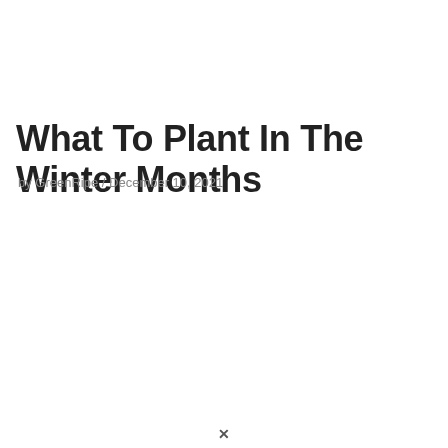What To Plant In The Winter Months
by GreenRipe / December 10, 2021